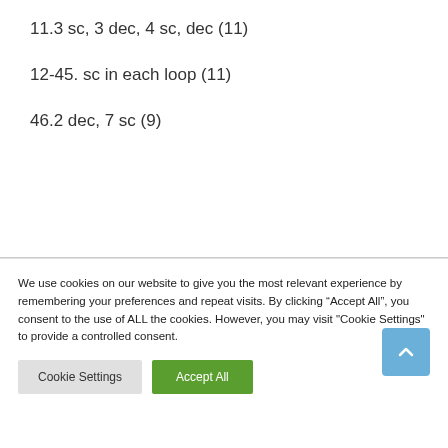11.3 sc, 3 dec, 4 sc, dec (11)
12-45. sc in each loop (11)
46.2 dec, 7 sc (9)
We use cookies on our website to give you the most relevant experience by remembering your preferences and repeat visits. By clicking “Accept All”, you consent to the use of ALL the cookies. However, you may visit “Cookie Settings” to provide a controlled consent.